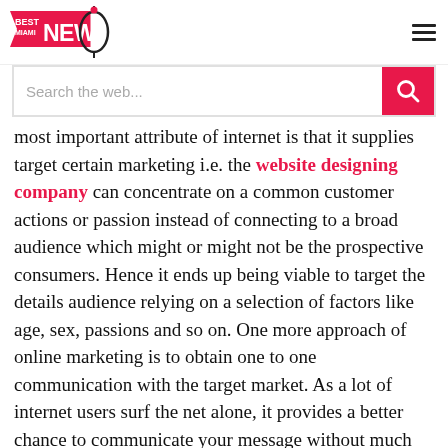Best Miami News (logo) | search bar | hamburger menu
most important attribute of internet is that it supplies target certain marketing i.e. the website designing company can concentrate on a common customer actions or passion instead of connecting to a broad audience which might or might not be the prospective consumers. Hence it ends up being viable to target the details audience relying on a selection of factors like age, sex, passions and so on. One more approach of online marketing is to obtain one to one communication with the target market. As a lot of internet users surf the net alone, it provides a better chance to communicate your message without much disturbances and also the audience has the ability to pay more focus. This method makes use of the search engine results ranking based upon keywords browsed by the internet user as well as making your site